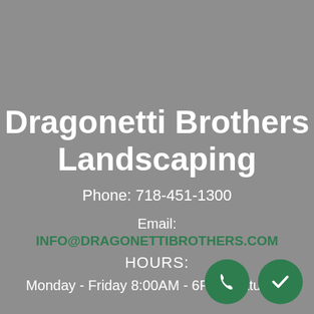Dragonetti Brothers Landscaping
Phone: 718-451-1300
Email: INFO@DRAGONETTIBROTHERS.COM
HOURS:
Monday - Friday 8:00AM - 6PM | Saturday